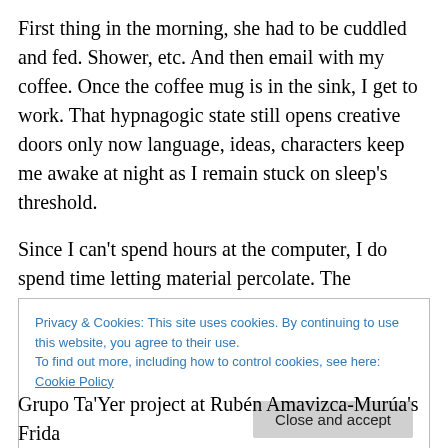First thing in the morning, she had to be cuddled and fed. Shower, etc. And then email with my coffee. Once the coffee mug is in the sink, I get to work. That hypnagogic state still opens creative doors only now language, ideas, characters keep me awake at night as I remain stuck on sleep's threshold.
Since I can't spend hours at the computer, I do spend time letting material percolate. The unconscious gets to work when I'm doing what I enjoy doing anyway: walking, driving, pampering the cat, doing behavioral observations
Privacy & Cookies: This site uses cookies. By continuing to use this website, you agree to their use.
To find out more, including how to control cookies, see here: Cookie Policy
Grupo Ta'Yer project at Rubén Amavizca-Murúa's Frida